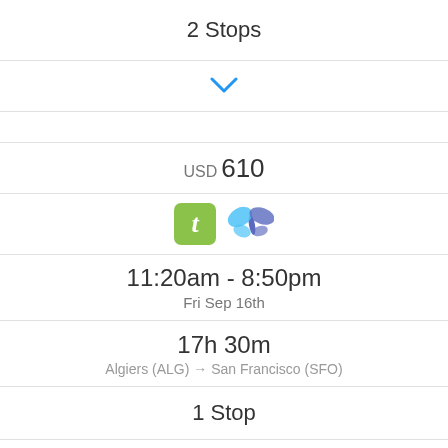2 Stops
[Figure (other): Blue chevron/dropdown arrow]
USD 610
[Figure (logo): Two travel booking logos: green 't' square logo and a blue butterfly logo]
11:20am - 8:50pm
Fri Sep 16th
17h 30m
Algiers (ALG) → San Francisco (SFO)
1 Stop
[Figure (other): Blue chevron/dropdown arrow]